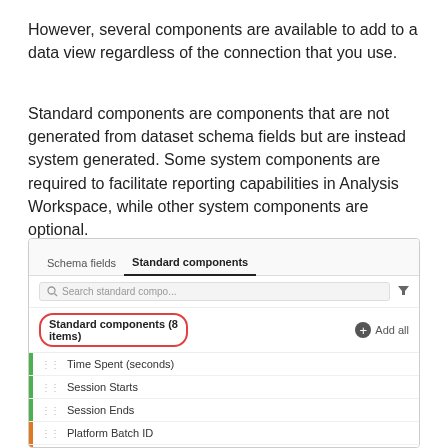However, several components are available to add to a data view regardless of the connection that you use.
Standard components are components that are not generated from dataset schema fields but are instead system generated. Some system components are required to facilitate reporting capabilities in Analysis Workspace, while other system components are optional.
[Figure (screenshot): UI screenshot showing Standard components tab selected with a search box, a 'Standard components (8 items)' label circled in red, an 'Add all' button, and a list of items: Time Spent (seconds), Session Starts, Session Ends, Platform Batch ID, Platform Dataset ID. Green and orange bars on the left side of list items.]